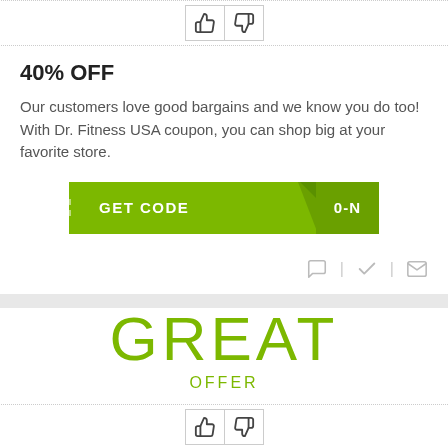[Figure (other): Thumbs up and thumbs down buttons at top of coupon card]
40% OFF
Our customers love good bargains and we know you do too! With Dr. Fitness USA coupon, you can shop big at your favorite store.
[Figure (other): Green GET CODE button with partially revealed coupon code ending in 0-N]
[Figure (other): Comment, checkmark, and mail icon row]
GREAT
OFFER
[Figure (other): Thumbs up and thumbs down buttons for second coupon card]
45% OFF